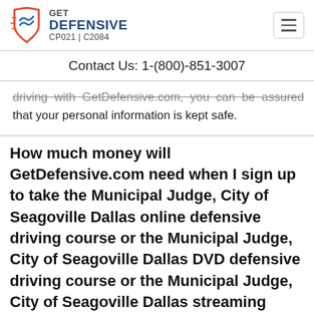GET DEFENSIVE CP021 | C2084 | Contact Us: 1-(800)-851-3007
driving with GetDefensive.com, you can be assured that your personal information is kept safe.
How much money will GetDefensive.com need when I sign up to take the Municipal Judge, City of Seagoville Dallas online defensive driving course or the Municipal Judge, City of Seagoville Dallas DVD defensive driving course or the Municipal Judge, City of Seagoville Dallas streaming video course or the Municipal Judge, City of Seagoville Dallas...